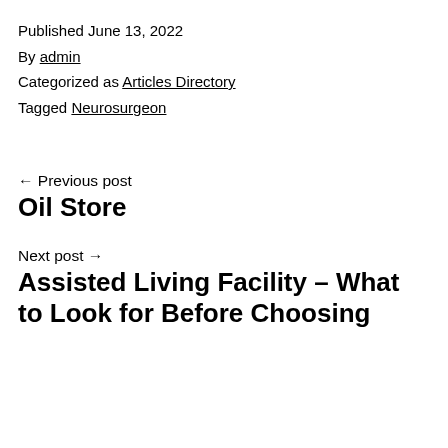Published June 13, 2022
By admin
Categorized as Articles Directory
Tagged Neurosurgeon
← Previous post
Oil Store
Next post →
Assisted Living Facility – What to Look for Before Choosing